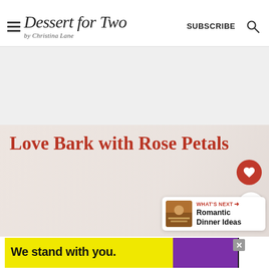Dessert for Two by Christina Lane — SUBSCRIBE
[Figure (other): Advertisement banner placeholder (light gray area)]
Love Bark with Rose Petals
[Figure (photo): Background food photo of chocolate bark with rose petals, partially visible, low opacity]
[Figure (infographic): What's Next callout: 'Romantic Dinner Ideas' with thumbnail image]
[Figure (other): Advertisement banner at bottom: 'We stand with you.' in yellow, purple, and dark sections]